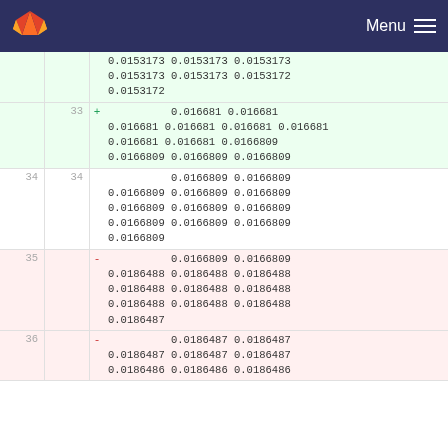GitLab Menu
| old_line | new_line | marker | code |
| --- | --- | --- | --- |
|  |  |  | 0.0153173 0.0153173 0.0153173
0.0153173 0.0153173 0.0153172
0.0153172 |
|  | 33 | + | 0.016681 0.016681
0.016681 0.016681 0.016681 0.016681
0.016681 0.016681 0.0166809
0.0166809 0.0166809 0.0166809 |
| 34 | 34 |  | 0.0166809 0.0166809
0.0166809 0.0166809 0.0166809
0.0166809 0.0166809 0.0166809
0.0166809 0.0166809 0.0166809
0.0166809 |
| 35 |  | - | 0.0166809 0.0166809
0.0186488 0.0186488 0.0186488
0.0186488 0.0186488 0.0186488
0.0186488 0.0186488 0.0186488
0.0186487 |
| 36 |  | - | 0.0186487 0.0186487
0.0186487 0.0186487 0.0186487
0.0186486 0.0186486 0.0186486 |